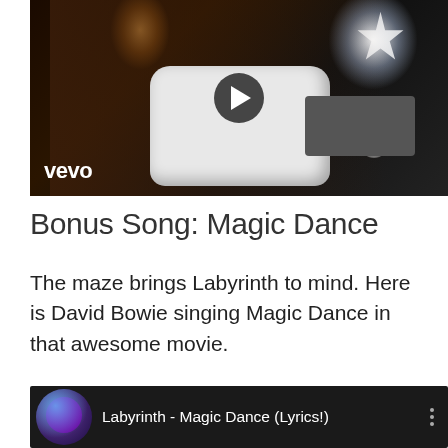[Figure (screenshot): Vevo video thumbnail showing a guitarist on stage with a white electric guitar, stage lights, play button overlay, and Vevo logo in bottom left]
Bonus Song: Magic Dance
The maze brings Labyrinth to mind. Here is David Bowie singing Magic Dance in that awesome movie.
[Figure (screenshot): YouTube video thumbnail for 'Labyrinth - Magic Dance (Lyrics!)' showing a dark thumbnail with avatar and three-dot menu icon]